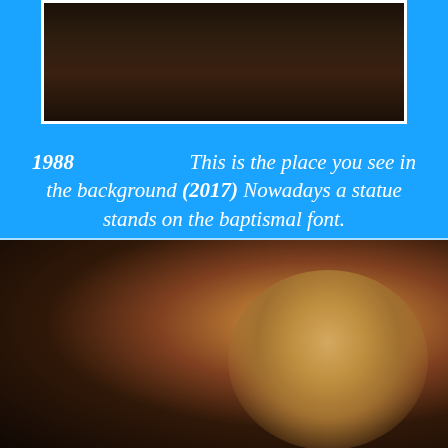[Figure (photo): Dark photo from 1988 showing a stone or brick background, likely interior of a church]
1988  This is the place you see in the background (2017) Nowadays a statue stands on the baptismal font.
[Figure (photo): Close-up photo of a woman with blonde hair and green eyes in a dark setting, 2017]